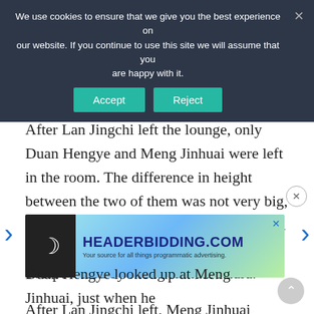We use cookies to ensure that we give you the best experience on our website. If you continue to use this site we will assume that you are happy with it.
After Lan Jingchi left the lounge, only Duan Hengye and Meng Jinhuai were left in the room. The difference in height between the two of them was not very big, but perhaps because one was standing and the other was sitting, Duan Hengye was overpowered by Meng Jinhuai's aura.
After Lan Jingchi left, Meng Jinhuai hadn't spoken. The air in the lounge was almost frozen, and Duan H
[Figure (screenshot): HEADERBIDDING.COM advertisement banner - Your source for all things programmatic advertising.]
Duan Hengye looked up at Meng Jinhuai, just when he